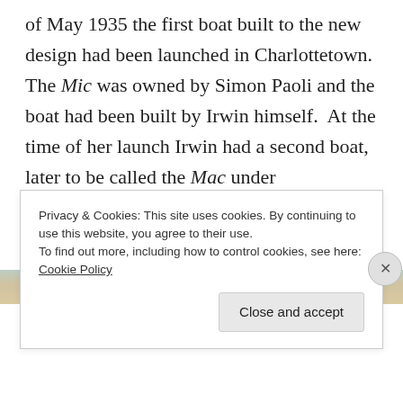of May 1935 the first boat built to the new design had been launched in Charlottetown. The Mic was owned by Simon Paoli and the boat had been built by Irwin himself.  At the time of her launch Irwin had a second boat, later to be called the Mac under construction for his own use. Other boats were being built in Summerside, Pictou and Shediac. All were expected to take part in the 1936 season's racing.
[Figure (photo): Partial photo strip visible behind cookie overlay, showing what appears to be a boat on water]
Privacy & Cookies: This site uses cookies. By continuing to use this website, you agree to their use.
To find out more, including how to control cookies, see here: Cookie Policy